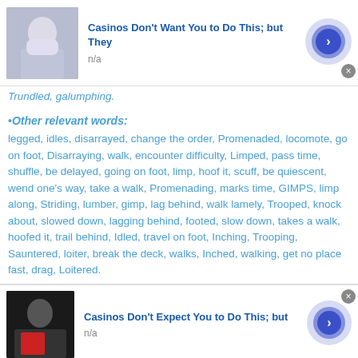[Figure (screenshot): Advertisement banner: thumbnail image of person, title 'Casinos Don't Want You to Do This; but They', subtitle 'n/a', blue arrow button, close X button]
Trundled, galumphing.
•Other relevant words:
legged, idles, disarrayed, change the order, Promenaded, locomote, go on foot, Disarraying, walk, encounter difficulty, Limped, pass time, shuffle, be delayed, going on foot, limp, hoof it, scuff, be quiescent, wend one's way, take a walk, Promenading, marks time, GIMPS, limp along, Striding, lumber, gimp, lag behind, walk lamely, Trooped, knock about, slowed down, lagging behind, footed, slow down, takes a walk, hoofed it, trail behind, Idled, travel on foot, Inching, Trooping, Sauntered, loiter, break the deck, walks, Inched, walking, get no place fast, drag, Loitered.
[Figure (screenshot): Advertisement banner: thumbnail image of person in red jacket, title 'Casinos Don't Expect You to Do This; but', subtitle 'n/a', blue arrow button, close X button]